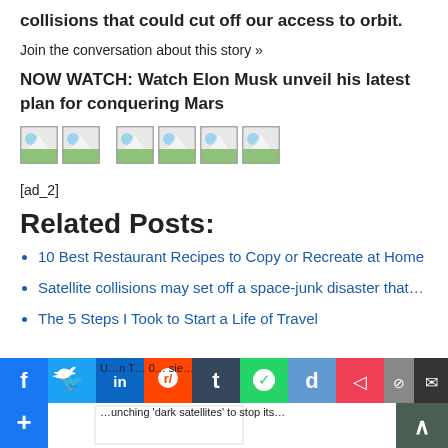collisions that could cut off our access to orbit.
Join the conversation about this story »
NOW WATCH: Watch Elon Musk unveil his latest plan for conquering Mars
[Figure (illustration): Row of six small image placeholder icons with green/landscape imagery]
[ad_2]
Related Posts:
10 Best Restaurant Recipes to Copy or Recreate at Home
Satellite collisions may set off a space-junk disaster that…
The 5 Steps I Took to Start a Life of Travel
[Figure (screenshot): Social sharing bar with Facebook, Twitter, LinkedIn, Reddit, Tumblr, WhatsApp, Digg, Pocket, Copy, Email, and Plus buttons, plus overlapping article text and a scroll-to-top arrow button]